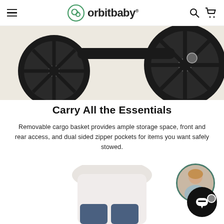orbit baby navigation header with hamburger menu, logo, search and cart icons
[Figure (photo): Close-up of stroller wheels on a beige/cream background, showing two large black spoked wheels]
Carry All the Essentials
Removable cargo basket provides ample storage space, front and rear access, and dual sided zipper pockets for items you want safely stowed.
[Figure (photo): Woman in white top and blue jeans standing beside a stroller, with a circular avatar chat bubble and a chat button in the bottom right corner]